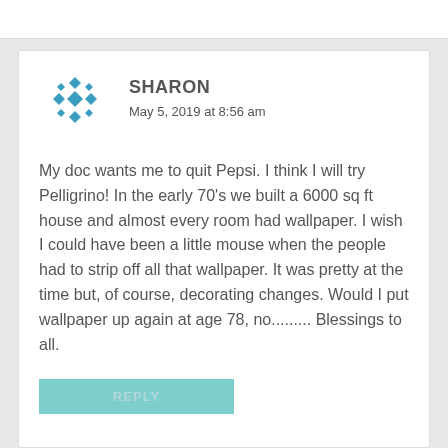SHARON
May 5, 2019 at 8:56 am
My doc wants me to quit Pepsi. I think I will try Pelligrino! In the early 70's we built a 6000 sq ft house and almost every room had wallpaper. I wish I could have been a little mouse when the people had to strip off all that wallpaper. It was pretty at the time but, of course, decorating changes. Would I put wallpaper up again at age 78, no......... Blessings to all.
REPLY